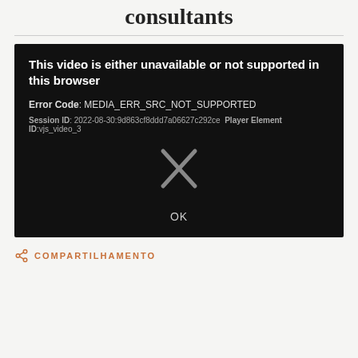consultants
[Figure (screenshot): Video player error screen with dark background showing: 'This video is either unavailable or not supported in this browser', Error Code: MEDIA_ERR_SRC_NOT_SUPPORTED, Session ID: 2022-08-30:9d863cf8ddd7a06627c292ce, Player Element ID:vjs_video_3, an X icon, and OK button]
COMPARTILHAMENTO